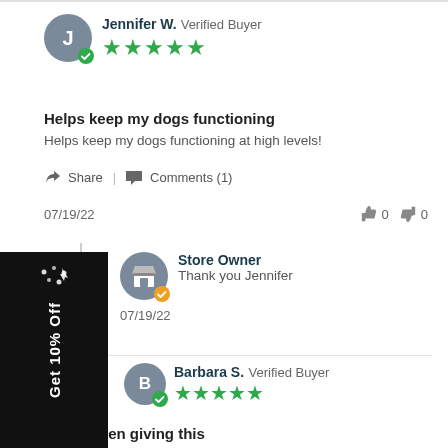Jennifer W. Verified Buyer
[Figure (other): 5-star rating (green stars)]
Helps keep my dogs functioning
Helps keep my dogs functioning at high levels!
Share | Comments (1)
07/19/22   👍 0  👎 0
Store Owner
Thank you Jennifer
07/19/22
Get 10% Off
Barbara S. Verified Buyer
[Figure (other): 5-star rating (green stars)]
I have been giving this